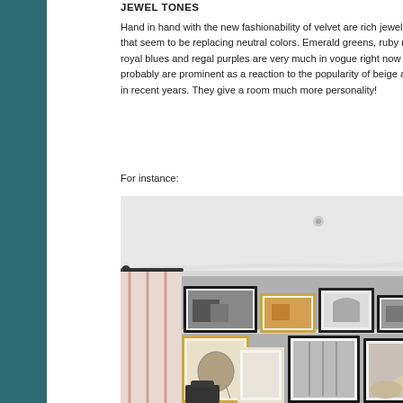JEWEL TONES
Hand in hand with the new fashionability of velvet are rich jewel tones that seem to be replacing neutral colors. Emerald greens, ruby reds, royal blues and regal purples are very much in vogue right now and probably are prominent as a reaction to the popularity of beige and gray in recent years. They give a room much more personality!
For instance:
[Figure (photo): Interior room photo showing a gray-walled living/study space with white crown molding, striped pink/white curtains on the left, a gallery wall with multiple framed black-and-white and color photographs arranged on a white ledge shelf, and artwork leaning against the wall below.]